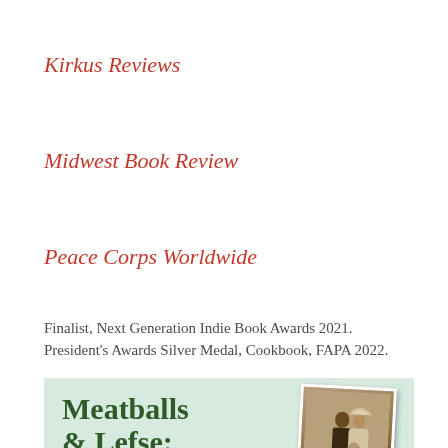Kirkus Reviews
Midwest Book Review
Peace Corps Worldwide
Finalist, Next Generation Indie Book Awards 2021. President’s Awards Silver Medal, Cookbook, FAPA 2022.
[Figure (photo): Book cover for 'Meatballs & Lefse:' with a light green background, bold dark green title text, and a sepia-toned vintage wedding photo of a couple on the right side.]